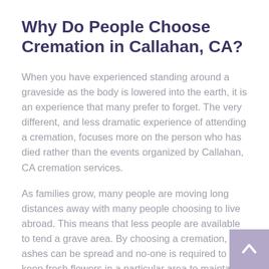Why Do People Choose Cremation in Callahan, CA?
When you have experienced standing around a graveside as the body is lowered into the earth, it is an experience that many prefer to forget. The very different, and less dramatic experience of attending a cremation, focuses more on the person who has died rather than the events organized by Callahan, CA cremation services.
As families grow, many people are moving long distances away with many people choosing to live abroad. This means that less people are available to tend a grave area. By choosing a cremation, the ashes can be spread and no-one is required to keep fresh flowers in a particular area to maintain a memory.